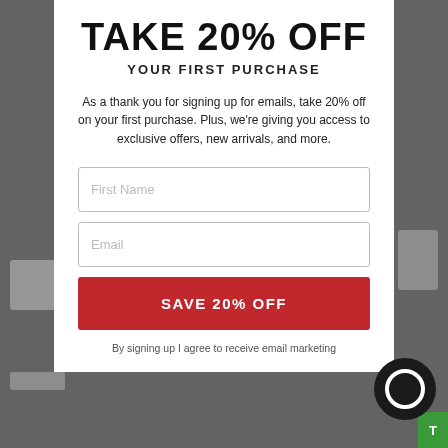TAKE 20% OFF
YOUR FIRST PURCHASE
As a thank you for signing up for emails, take 20% off on your first purchase. Plus, we're giving you access to exclusive offers, new arrivals, and more.
First Name
Email
SAVE 20% OFF
By signing up I agree to receive email marketing